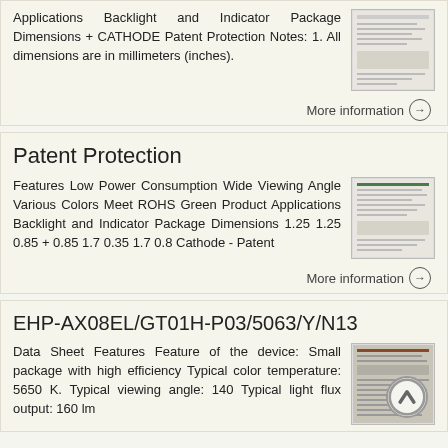Applications Backlight and Indicator Package Dimensions + CATHODE Patent Protection Notes: 1. All dimensions are in millimeters (inches).
[Figure (screenshot): Thumbnail image of a datasheet document]
More information →
Patent Protection
Features Low Power Consumption Wide Viewing Angle Various Colors Meet ROHS Green Product Applications Backlight and Indicator Package Dimensions 1.25 1.25 0.85 + 0.85 1.7 0.35 1.7 0.8 Cathode - Patent
[Figure (screenshot): Thumbnail image of a patent protection document]
More information →
EHP-AX08EL/GT01H-P03/5063/Y/N13
Data Sheet Features Feature of the device: Small package with high efficiency Typical color temperature: 5650 K. Typical viewing angle: 140 Typical light flux output: 160 lm
[Figure (screenshot): Thumbnail image of the EHP-AX08EL datasheet]